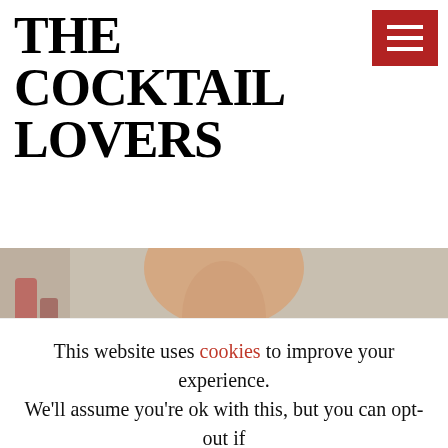THE COCKTAIL LOVERS
[Figure (illustration): Red hamburger menu button icon with three white horizontal lines on red background]
[Figure (photo): A bartender in a white dress shirt, photographed from neck down, holding what appears to be a cocktail garnish. Blurred bar bottles visible in the background.]
This website uses cookies to improve your experience. We'll assume you're ok with this, but you can opt-out if you wish.
Cookie settings   ACCEPT